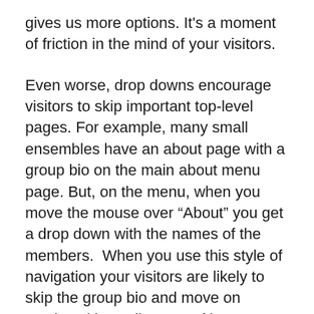gives us more options. It’s a moment of friction in the mind of your visitors.
Even worse, drop downs encourage visitors to skip important top-level pages. For example, many small ensembles have an about page with a group bio on the main about menu page. But, on the menu, when you move the mouse over “About” you get a drop down with the names of the members.  When you use this style of navigation your visitors are likely to skip the group bio and move on maybe with reading any of it.